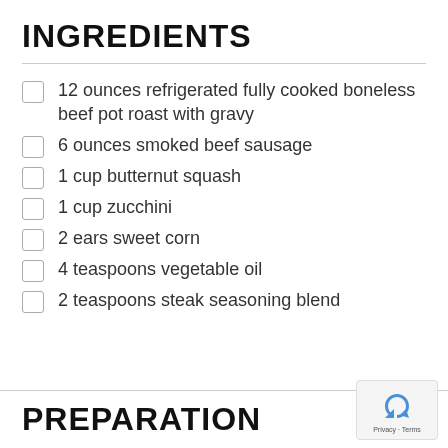INGREDIENTS
12 ounces refrigerated fully cooked boneless beef pot roast with gravy
6 ounces smoked beef sausage
1 cup butternut squash
1 cup zucchini
2 ears sweet corn
4 teaspoons vegetable oil
2 teaspoons steak seasoning blend
PREPARATION